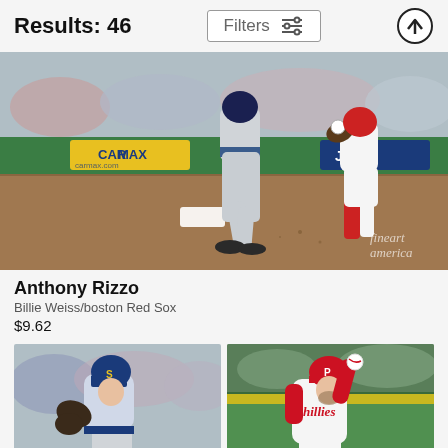Results: 46
[Figure (photo): Baseball action photo showing players running on the basepath. One player in gray uniform running left, another in red-stocked white uniform in background. Outfield wall visible with advertising signage. Fine art america watermark in bottom right.]
Anthony Rizzo
Billie Weiss/boston Red Sox
$9.62
[Figure (photo): Baseball pitcher in Seattle Mariners blue cap and gray uniform, in pitching stance with glove.]
[Figure (photo): Baseball pitcher wearing Philadelphia Phillies red and white uniform, mid-pitch delivery.]